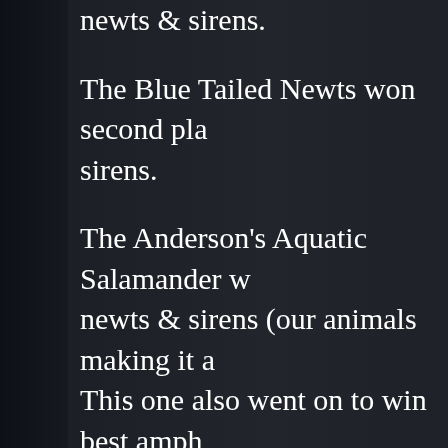newts & sirens.
The Blue Tailed Newts won second pla... sirens.
The Anderson's Aquatic Salamander w... newts & sirens (our animals making it a... This one also went on to win best amph... for that. I was pretty amazed and humb... humbled because of the quality of the c... Colorado River Toads on display and o... place ribbon in the frogs & toads divisi... head against my salamander for best...